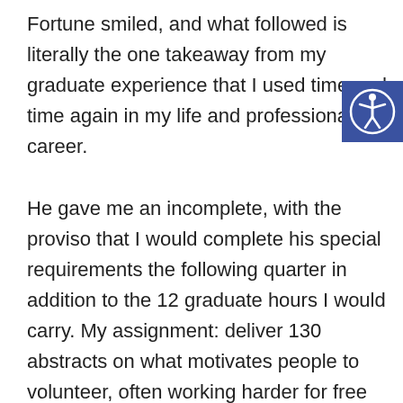Fortune smiled, and what followed is literally the one takeaway from my graduate experience that I used time and time again in my life and professional career.

He gave me an incomplete, with the proviso that I would complete his special requirements the following quarter in addition to the 12 graduate hours I would carry. My assignment: deliver 130 abstracts on what motivates people to volunteer, often working harder for free than they would work on their job.

I fulfilled the assignment. My advisor had to
[Figure (illustration): Accessibility icon — white person figure with arms and legs extended in a circle, on a dark blue/indigo square background]